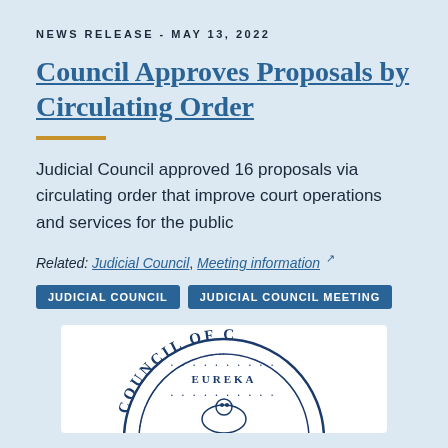NEWS RELEASE - MAY 13, 2022
Council Approves Proposals by Circulating Order
Judicial Council approved 16 proposals via circulating order that improve court operations and services for the public
Related: Judicial Council, Meeting information
JUDICIAL COUNCIL   JUDICIAL COUNCIL MEETING
[Figure (logo): Partial view of Judicial Council of California seal with text COUNCIL OF C... EUREKA]